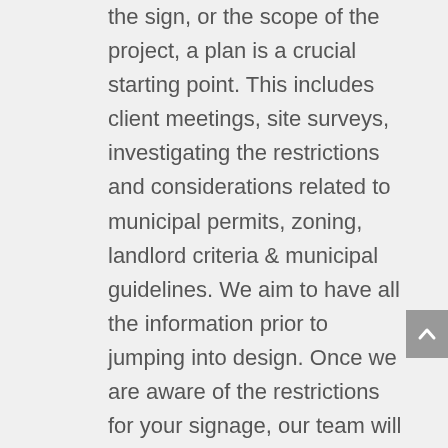the sign, or the scope of the project, a plan is a crucial starting point. This includes client meetings, site surveys, investigating the restrictions and considerations related to municipal permits, zoning, landlord criteria & municipal guidelines. We aim to have all the information prior to jumping into design. Once we are aware of the restrictions for your signage, our team will work with you to create a sign that best suits your brand and showcases the best visibility and materials for the sign(s) location.
We use the most current & convenient methods of communication both with the client and internally. This ensures that we are on the same page for all stages of the project...